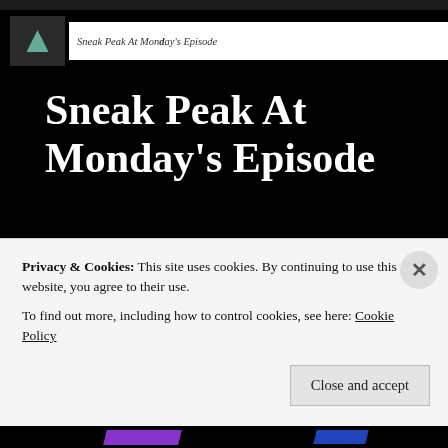Sneak Peak At Monday's Episode
Sneak Peak At Monday's Episode
Here's a sneak peak at Monday's episode, can you guess what the topic is? Plus, we also talk about a … More
[Figure (screenshot): Second article thumbnail strip showing 'Spotify Announces PartGership With Warner Bros/DC']
Spotify Announces
Privacy & Cookies: This site uses cookies. By continuing to use this website, you agree to their use.
To find out more, including how to control cookies, see here: Cookie Policy